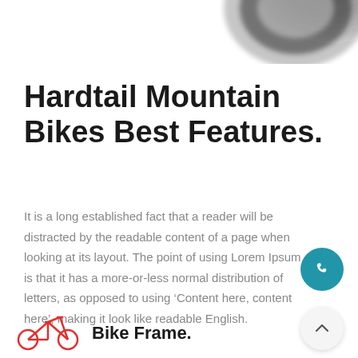[Figure (photo): Partial blurred image of a bicycle wheel visible at top right corner of the page]
Hardtail Mountain Bikes Best Features.
It is a long established fact that a reader will be distracted by the readable content of a page when looking at its layout. The point of using Lorem Ipsum is that it has a more-or-less normal distribution of letters, as opposed to using ‘Content here, content here’, making it look like readable English.
[Figure (illustration): Red bicycle frame icon / line drawing]
Bike Frame.